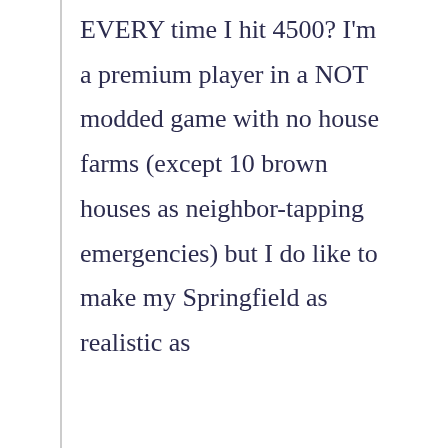EVERY time I hit 4500? I'm a premium player in a NOT modded game with no house farms (except 10 brown houses as neighbor-tapping emergencies) but I do like to make my Springfield as realistic as
Privacy & Cookies: This site uses cookies. By continuing to use this website, you agree to their use.
To find out more, including how to control cookies, see here: Cookie Policy
Close and accept